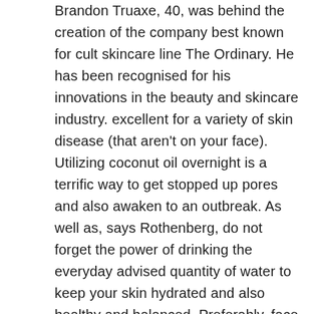Brandon Truaxe, 40, was behind the creation of the company best known for cult skincare line The Ordinary. He has been recognised for his innovations in the beauty and skincare industry. excellent for a variety of skin disease (that aren't on your face). Utilizing coconut oil overnight is a terrific way to get stopped up pores and also awaken to an outbreak. As well as, says Rothenberg, do not forget the power of drinking the everyday advised quantity of water to keep your skin hydrated and also healthy and balanced. Preferably, face moisturizers ought to keep your skin moisturized while continuing to be light sufficient that they don't clog your pores. We talked with dermatologists to find out why you should not utilize coconut oil on your face.